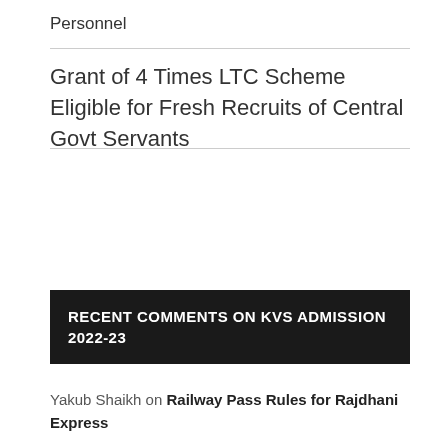Personnel
Grant of 4 Times LTC Scheme Eligible for Fresh Recruits of Central Govt Servants
RECENT COMMENTS ON KVS ADMISSION 2022-23
Yakub Shaikh on Railway Pass Rules for Rajdhani Express